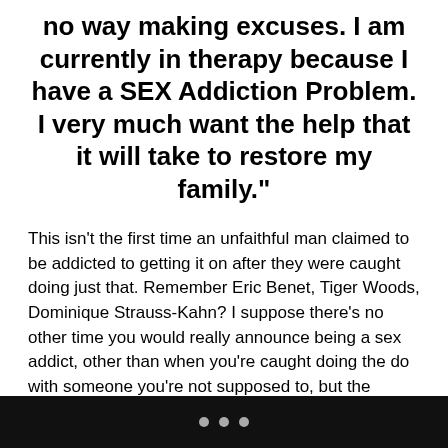no way making excuses. I am currently in therapy because I have a SEX Addiction Problem. I very much want the help that it will take to restore my family."
This isn't the first time an unfaithful man claimed to be addicted to getting it on after they were caught doing just that. Remember Eric Benet, Tiger Woods, Dominique Strauss-Kahn? I suppose there's no other time you would really announce being a sex addict, other than when you're caught doing the do with someone you're not supposed to, but the admission always comes across as a little contrived when it's made, causing people to question whether the person really has a psychological problem or they're just trifling.
Psychologists can't even agree on whether sex addiction is a